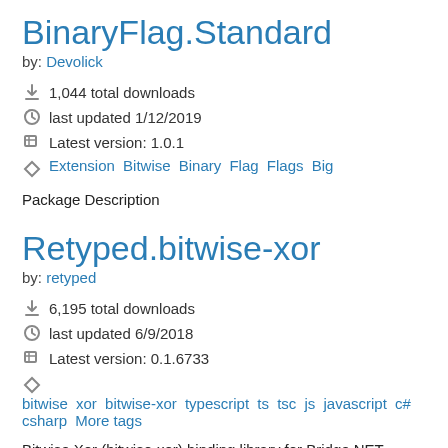BinaryFlag.Standard
by: Devolick
1,044 total downloads
last updated 1/12/2019
Latest version: 1.0.1
Extension Bitwise Binary Flag Flags Big
Package Description
Retyped.bitwise-xor
by: retyped
6,195 total downloads
last updated 6/9/2018
Latest version: 0.1.6733
bitwise xor bitwise-xor typescript ts tsc js javascript c# csharp More tags
Bitwise Xor (bitwise-xor) binding library for Bridge.NET projects.
BinaryFlag.NET